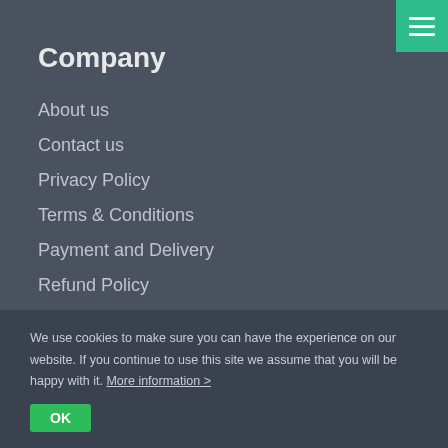Company
About us
Contact us
Privacy Policy
Terms & Conditions
Payment and Delivery
Refund Policy
DCMA Policy
Plans & Pricing
Coupon code
Sitemap
FAQ
Support 24/7/365
We use cookies to make sure you can have the experience on our website. If you continue to use this site we assume that you will be happy with it. More information >
OK